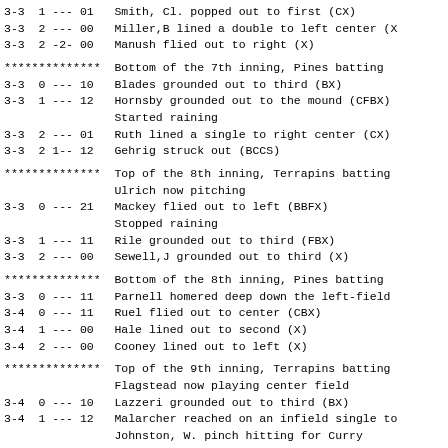3-3  1 --- 01   Smith, Cl. popped out to first (CX)
3-3  2 --- 00   Miller,B lined a double to left center (X
3-3  2 -2- 00   Manush flied out to right (X)
**************  Bottom of the 7th inning, Pines batting
3-3  0 --- 10   Blades grounded out to third (BX)
3-3  1 --- 12   Hornsby grounded out to the mound (CFBX)
                Started raining
3-3  2 --- 01   Ruth lined a single to right center (CX)
3-3  2 1-- 12   Gehrig struck out (BCCS)
**************  Top of the 8th inning, Terrapins batting
                Ulrich now pitching
3-3  0 --- 21   Mackey flied out to left (BBFX)
                Stopped raining
3-3  1 --- 11   Rile grounded out to third (FBX)
3-3  2 --- 00   Sewell,J grounded out to third (X)
**************  Bottom of the 8th inning, Pines batting
3-3  0 --- 11   Parnell homered deep down the left-field
3-4  0 --- 11   Ruel flied out to center (CBX)
3-4  1 --- 00   Hale lined out to second (X)
3-4  2 --- 00   Cooney lined out to left (X)
**************  Top of the 9th inning, Terrapins batting
                Flagstead now playing center field
3-4  0 --- 10   Lazzeri grounded out to third (BX)
3-4  1 --- 12   Malarcher reached on an infield single to
                Johnston, W. pinch hitting for Curry
3-4  1 1-- 02   Johnston, W. grounded a single up the mid